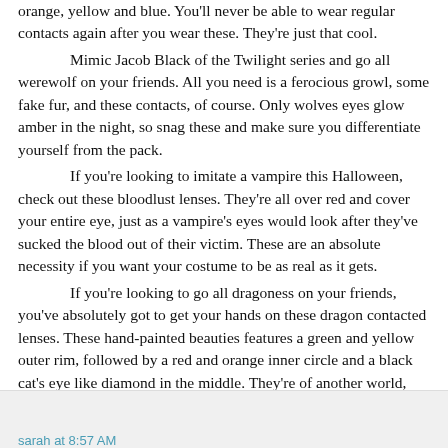orange, yellow and blue. You'll never be able to wear regular contacts again after you wear these. They're just that cool.
	Mimic Jacob Black of the Twilight series and go all werewolf on your friends. All you need is a ferocious growl, some fake fur, and these contacts, of course. Only wolves eyes glow amber in the night, so snag these and make sure you differentiate yourself from the pack.
	If you're looking to imitate a vampire this Halloween, check out these bloodlust lenses. They're all over red and cover your entire eye, just as a vampire's eyes would look after they've sucked the blood out of their victim. These are an absolute necessity if you want your costume to be as real as it gets.
	If you're looking to go all dragoness on your friends, you've absolutely got to get your hands on these dragon contacted lenses. These hand-painted beauties features a green and yellow outer rim, followed by a red and orange inner circle and a black cat's eye like diamond in the middle. They're of another world, and you will be too when you put them on!
	For more funky contact ideas, check out Lens Shopper's Special Effects Lenses here.
sarah at 8:57 AM